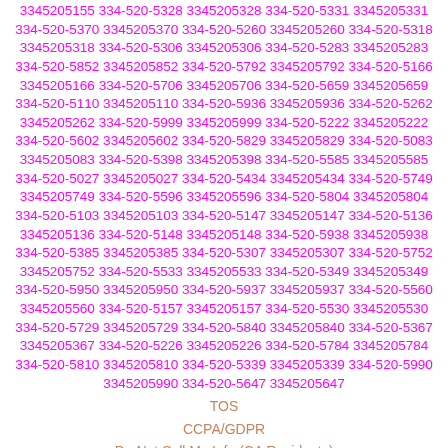3345205155 334-520-5328 3345205328 334-520-5331 3345205331 334-520-5370 3345205370 334-520-5260 3345205260 334-520-5318 3345205318 334-520-5306 3345205306 334-520-5283 3345205283 334-520-5852 3345205852 334-520-5792 3345205792 334-520-5166 3345205166 334-520-5706 3345205706 334-520-5659 3345205659 334-520-5110 3345205110 334-520-5936 3345205936 334-520-5262 3345205262 334-520-5999 3345205999 334-520-5222 3345205222 334-520-5602 3345205602 334-520-5829 3345205829 334-520-5083 3345205083 334-520-5398 3345205398 334-520-5585 3345205585 334-520-5027 3345205027 334-520-5434 3345205434 334-520-5749 3345205749 334-520-5596 3345205596 334-520-5804 3345205804 334-520-5103 3345205103 334-520-5147 3345205147 334-520-5136 3345205136 334-520-5148 3345205148 334-520-5938 3345205938 334-520-5385 3345205385 334-520-5307 3345205307 334-520-5752 3345205752 334-520-5533 3345205533 334-520-5349 3345205349 334-520-5950 3345205950 334-520-5937 3345205937 334-520-5560 3345205560 334-520-5157 3345205157 334-520-5530 3345205530 334-520-5729 3345205729 334-520-5840 3345205840 334-520-5367 3345205367 334-520-5226 3345205226 334-520-5784 3345205784 334-520-5810 3345205810 334-520-5339 3345205339 334-520-5990 3345205990 334-520-5647 3345205647
TOS
CCPA/GDPR
Do Not Sell My Info (CA Residents)
Customer Support